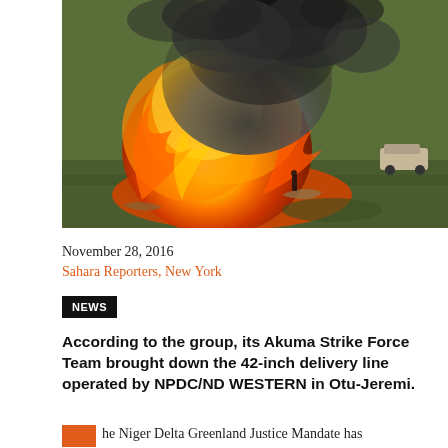[Figure (photo): Aerial view of a massive fire and thick black smoke rising from an oil pipeline explosion in an open field, with a vehicle visible in the upper right.]
November 28, 2016
Sahara Reporters, New York
NEWS
According to the group, its Akuma Strike Force Team brought down the 42-inch delivery line operated by NPDC/ND WESTERN in Otu-Jeremi.
he Niger Delta Greenland Justice Mandate has